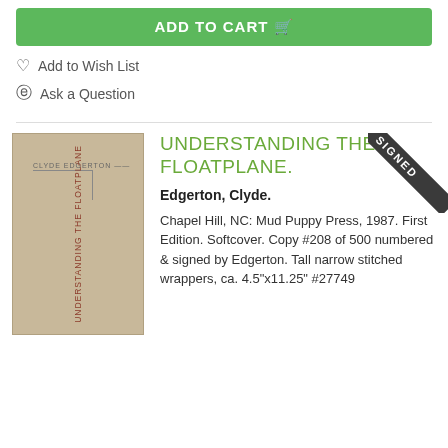ADD TO CART
Add to Wish List
Ask a Question
[Figure (photo): Book spine of 'Understanding the Floatplane' by Clyde Edgerton, a tall narrow softcover with text written vertically on the spine]
UNDERSTANDING THE FLOATPLANE.
Edgerton, Clyde.
Chapel Hill, NC: Mud Puppy Press, 1987. First Edition. Softcover. Copy #208 of 500 numbered & signed by Edgerton. Tall narrow stitched wrappers, ca. 4.5"x11.25" #27749